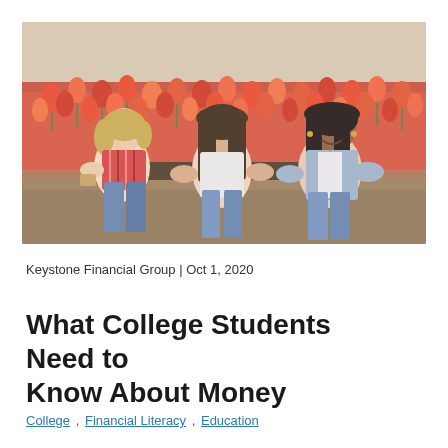[Figure (photo): Three young women sitting outdoors in front of a field of red and orange tulips, laughing and talking together. One wears a red striped shirt, one wears a white top, and one wears a denim jacket.]
Keystone Financial Group | Oct 1, 2020
What College Students Need to Know About Money
College , Financial Literacy , Education